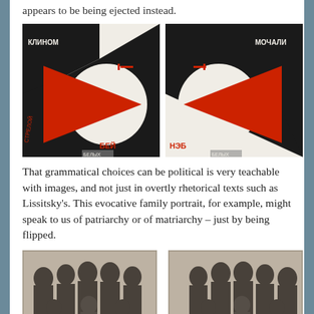appears to be being ejected instead.
[Figure (illustration): Two side-by-side constructivist propaganda posters by El Lissitsky featuring red triangular wedges against black and white backgrounds with Cyrillic text (КЛИНОМ and МОЧАЛИ, БЕЙ and НЭБ).]
That grammatical choices can be political is very teachable with images, and not just in overtly rhetorical texts such as Lissitsky's. This evocative family portrait, for example, might speak to us of patriarchy or of matriarchy – just by being flipped.
[Figure (photo): Two side-by-side black and white family portrait photographs, mirror images of each other, showing a large family group with adults and children.]